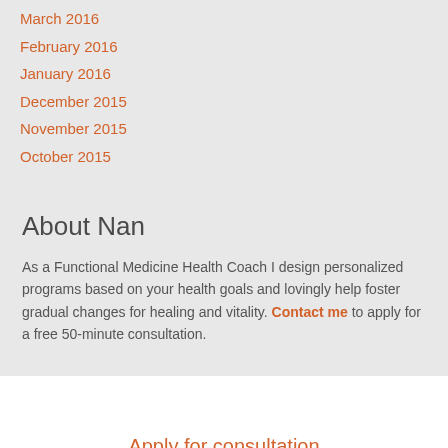March 2016
February 2016
January 2016
December 2015
November 2015
October 2015
About Nan
As a Functional Medicine Health Coach I design personalized programs based on your health goals and lovingly help foster gradual changes for healing and vitality. Contact me to apply for a free 50-minute consultation.
Apply for consultation